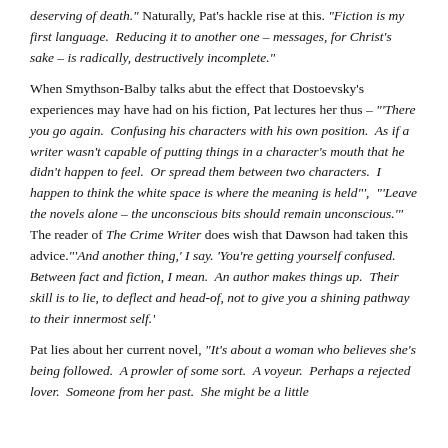deserving of death." Naturally, Pat's hackle rise at this. "Fiction is my first language.  Reducing it to another one – messages, for Christ's sake – is radically, destructively incomplete."
When Smythson-Balby talks abut the effect that Dostoevsky's experiences may have had on his fiction, Pat lectures her thus – "'There you go again.  Confusing his characters with his own position.  As if a writer wasn't capable of putting things in a character's mouth that he didn't happen to feel.  Or spread them between two characters.  I happen to think the white space is where the meaning is held"',  "'Leave the novels alone – the unconscious bits should remain unconscious.'"  The reader of The Crime Writer does wish that Dawson had taken this advice."'And another thing,' I say. 'You're getting yourself confused.   Between fact and fiction, I mean.  An author makes things up.  Their skill is to lie, to deflect and head-of, not to give you a shining pathway to their innermost self.'
Pat lies about her current novel, "It's about a woman who believes she's being followed.  A prowler of some sort.  A voyeur.  Perhaps a rejected lover.  Someone from her past.  She might be a little paranoid, but it's Pat, and she is in crisis, she wouldn't ...